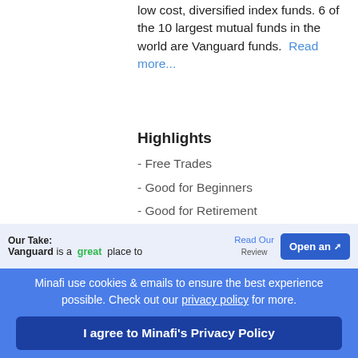low cost, diversified index funds. 6 of the 10 largest mutual funds in the world are Vanguard funds. ... Read more...
Highlights
- Free Trades
- Good for Beginners
- Good for Retirement
- Sign Up Bonus
Our Take: Vanguard is a great place to
Read Our
Open an
Minafi use cookies & emails to ensure the best experience possible. Check out our privacy policy for more.
I agree to Minafi's Privacy Policy